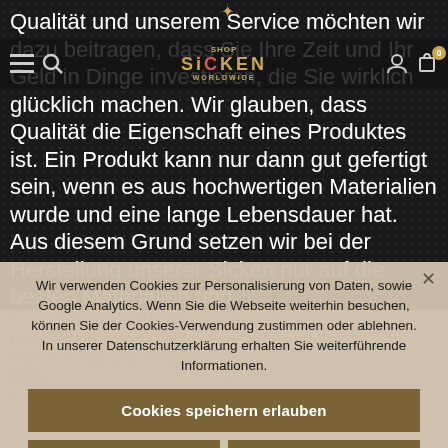Qualität und unserem Service möchten wir dazu beitragen, dass Sie Ihre Zeit und Ihr Geld in Dinge investieren, die Sie wirklich glücklich machen. Wir glauben, dass Qualität die Eigenschaft eines Produktes ist. Ein Produkt kann nur dann gut gefertigt sein, wenn es aus hochwertigen Materialien wurde und eine lange Lebensdauer hat. Aus diesem Grund setzen wir bei der Herstellung unserer Sicken nur auf die besten Materialien und
achten darauf, dass unsere Produkte langlebig und... Wir ... schnell und einfach... So können Sie Ihre Musik weiter... Sicken und Dichtung... mit Böxen Be...
Wir verwenden Cookies zur Personalisierung von Daten, sowie Google Analytics. Wenn Sie die Webseite weiterhin besuchen, können Sie der Cookies-Verwendung zustimmen oder ablehnen. In unserer Datenschutzerklärung erhalten Sie weiterführende Informationen.
Cookies speichern erlauben
Cookies nicht speichern
Datenschutzerklärung